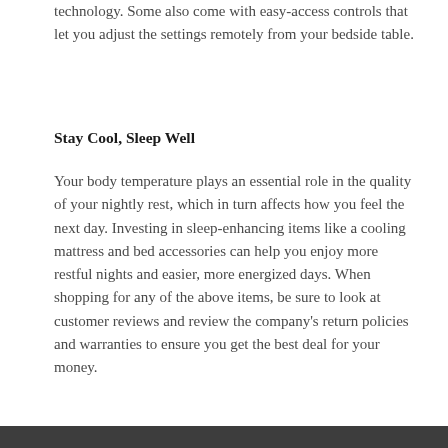technology. Some also come with easy-access controls that let you adjust the settings remotely from your bedside table.
Stay Cool, Sleep Well
Your body temperature plays an essential role in the quality of your nightly rest, which in turn affects how you feel the next day. Investing in sleep-enhancing items like a cooling mattress and bed accessories can help you enjoy more restful nights and easier, more energized days. When shopping for any of the above items, be sure to look at customer reviews and review the company's return policies and warranties to ensure you get the best deal for your money.